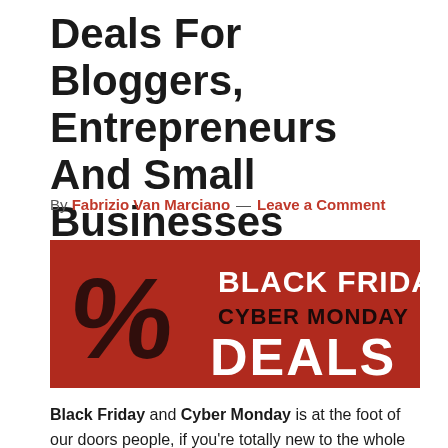Deals For Bloggers, Entrepreneurs And Small Businesses
By Fabrizio Van Marciano — Leave a Comment
[Figure (illustration): Black Friday Cyber Monday Deals banner image with red background, large percent sign on left, and text BLACK FRIDAY, CYBER MONDAY, DEALS on right]
Black Friday and Cyber Monday is at the foot of our doors people, if you're totally new to the whole Black